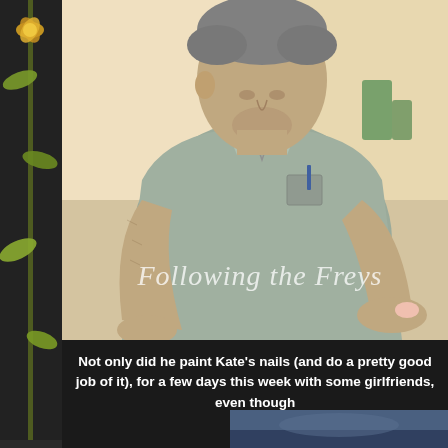[Figure (photo): A man with gray-streaked hair leaning over, painting Kate's nails. He is wearing a gray short-sleeve button-up shirt. The watermark 'Following the Freys' appears in white cursive over the bottom of the photo.]
Not only did he paint Kate's nails (and do a pretty good job of it), for a few days this week with some girlfriends, even though
[Figure (photo): Partial photo visible at the bottom right of the page, showing a blurred outdoor or sky scene.]